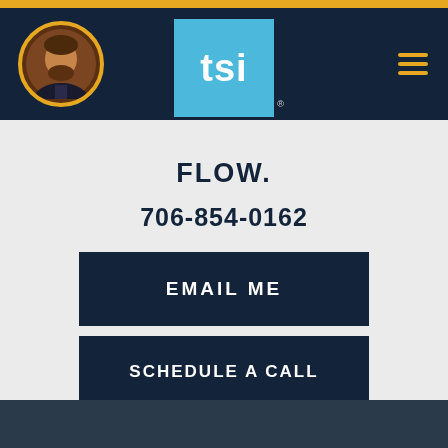[Figure (screenshot): Website screenshot showing TSI agent contact page with profile photo, TSI logo, hamburger menu, phone number, email and schedule call buttons]
FLOW.
706-854-0162
EMAIL ME
SCHEDULE A CALL